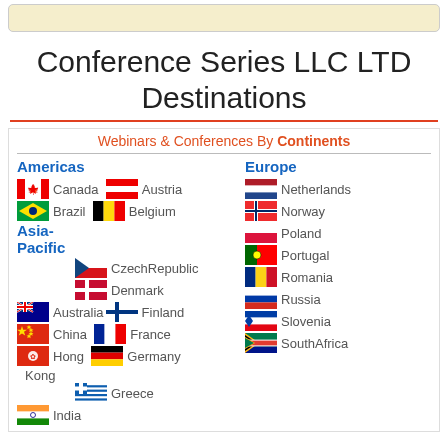[Figure (infographic): Partial top banner image (cropped, beige/cream background with rounded border)]
Conference Series LLC LTD Destinations
Webinars & Conferences By Continents
Americas
Canada
Brazil
Asia-Pacific
Australia
China
Hong Kong
India
Europe
Austria
Belgium
CzechRepublic
Denmark
Finland
France
Germany
Greece
Netherlands
Norway
Poland
Portugal
Romania
Russia
Slovenia
SouthAfrica